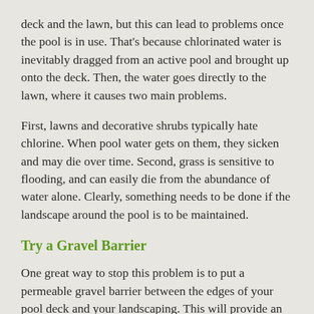deck and the lawn, but this can lead to problems once the pool is in use. That's because chlorinated water is inevitably dragged from an active pool and brought up onto the deck. Then, the water goes directly to the lawn, where it causes two main problems.
First, lawns and decorative shrubs typically hate chlorine. When pool water gets on them, they sicken and may die over time. Second, grass is sensitive to flooding, and can easily die from the abundance of water alone. Clearly, something needs to be done if the landscape around the pool is to be maintained.
Try a Gravel Barrier
One great way to stop this problem is to put a permeable gravel barrier between the edges of your pool deck and your landscaping. This will provide an area that will catch the pool water without being damaged by either the chlorine or the amount of liquid present. Choose a nice-looking, smooth